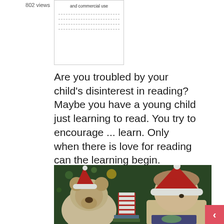802 views
[Figure (screenshot): Thumbnail of a document showing 'and commercial use' text and dashed lines]
Are you troubled by your child's disinterest in reading? Maybe you have a young child just learning to read. You try to encourage ... learn. Only when there is love for reading can the learning begin.
[Figure (photo): A young girl wearing a Santa hat reading a book, next to a teddy bear also wearing a Santa hat, with Christmas decorations in the background]